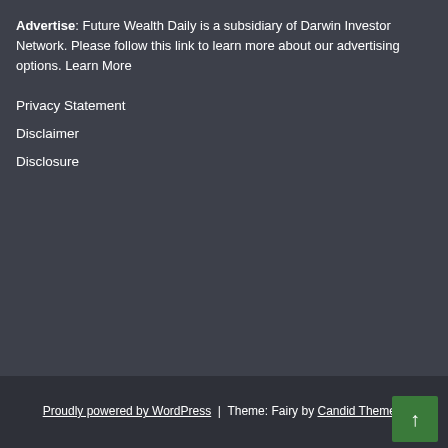Advertise: Future Wealth Daily is a subsidiary of Darwin Investor Network. Please follow this link to learn more about our advertising options. Learn More
Privacy Statement
Disclaimer
Disclosure
Proudly powered by WordPress | Theme: Fairy by Candid Themes.